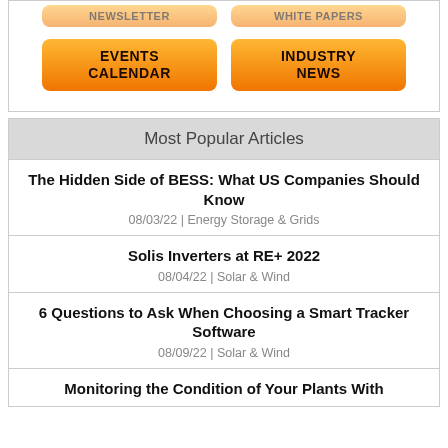[Figure (other): Two orange gradient buttons partially visible at top: NEWSLETTER and WHITE PAPERS]
[Figure (other): Two orange gradient buttons: EVENTS CALENDAR and INDUSTRY NEWS]
Most Popular Articles
The Hidden Side of BESS: What US Companies Should Know
08/03/22 | Energy Storage & Grids
Solis Inverters at RE+ 2022
08/04/22 | Solar & Wind
6 Questions to Ask When Choosing a Smart Tracker Software
08/09/22 | Solar & Wind
Monitoring the Condition of Your Plants With